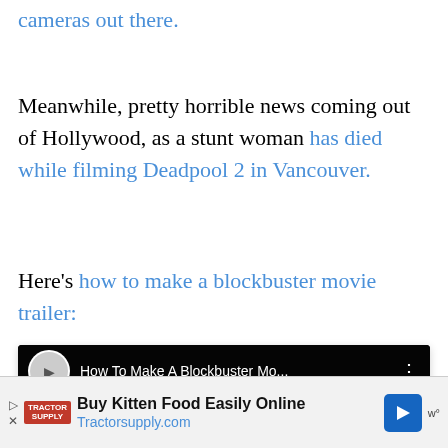cameras out there.
Meanwhile, pretty horrible news coming out of Hollywood, as a stunt woman has died while filming Deadpool 2 in Vancouver.
Here's how to make a blockbuster movie trailer:
[Figure (screenshot): YouTube video embed showing 'How To Make A Blockbuster Mo...' with a black background showing large white text 'FILM TITLE' and a red YouTube play button overlay]
Buy Kitten Food Easily Online Tractorsupply.com